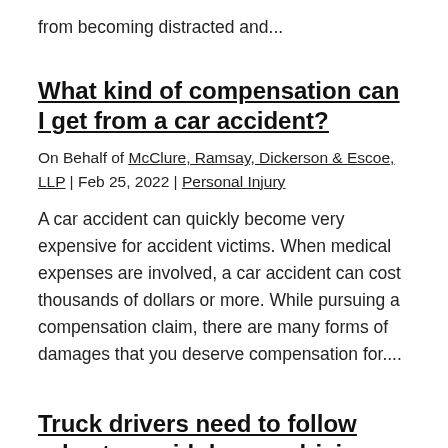from becoming distracted and...
What kind of compensation can I get from a car accident?
On Behalf of McClure, Ramsay, Dickerson & Escoe, LLP | Feb 25, 2022 | Personal Injury
A car accident can quickly become very expensive for accident victims. When medical expenses are involved, a car accident can cost thousands of dollars or more. While pursuing a compensation claim, there are many forms of damages that you deserve compensation for....
Truck drivers need to follow rules to avoid drowsy driving